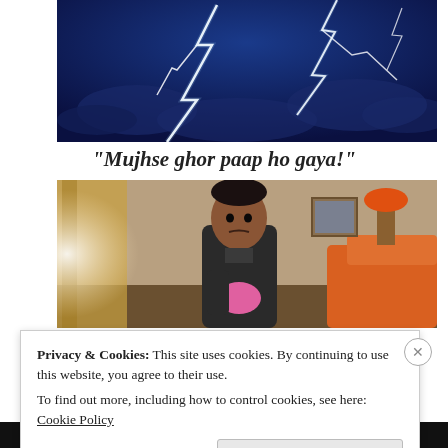[Figure (photo): Dark blue stormy sky with dramatic lightning bolts]
“Mujhse ghor paap ho gaya!”
[Figure (photo): A man in a dark jacket looking distressed, holding a pink item, standing in a room with orange furniture and warm lighting]
Privacy & Cookies: This site uses cookies. By continuing to use this website, you agree to their use.
To find out more, including how to control cookies, see here: Cookie Policy
Close and accept